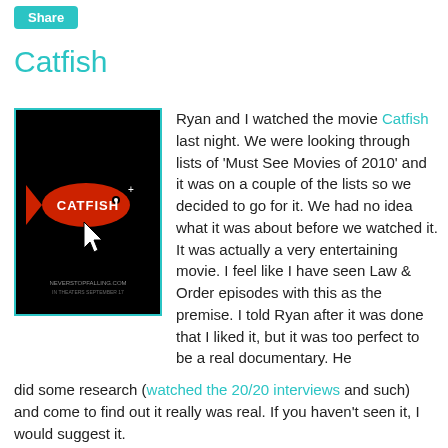Share
Catfish
[Figure (photo): Movie poster for 'Catfish' — red fish graphic with 'CATFISH' text and a computer cursor arrow on black background]
Ryan and I watched the movie Catfish last night. We were looking through lists of 'Must See Movies of 2010' and it was on a couple of the lists so we decided to go for it. We had no idea what it was about before we watched it. It was actually a very entertaining movie. I feel like I have seen Law & Order episodes with this as the premise. I told Ryan after it was done that I liked it, but it was too perfect to be a real documentary. He did some research (watched the 20/20 interviews and such) and come to find out it really was real. If you haven't seen it, I would suggest it.
In late 2007, filmmakers Ariel Schulman and Henry Joost sensed a story unfolding as they began to film the life of